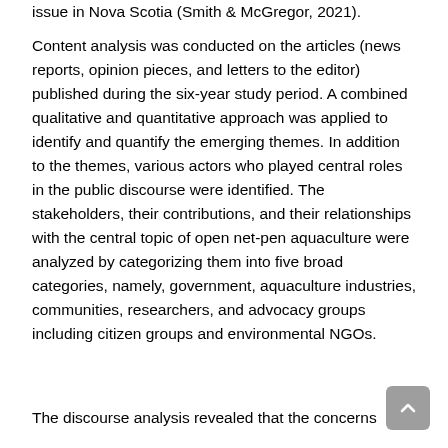issue in Nova Scotia (Smith & McGregor, 2021).
Content analysis was conducted on the articles (news reports, opinion pieces, and letters to the editor) published during the six-year study period. A combined qualitative and quantitative approach was applied to identify and quantify the emerging themes. In addition to the themes, various actors who played central roles in the public discourse were identified. The stakeholders, their contributions, and their relationships with the central topic of open net-pen aquaculture were analyzed by categorizing them into five broad categories, namely, government, aquaculture industries, communities, researchers, and advocacy groups including citizen groups and environmental NGOs.
The discourse analysis revealed that the concerns